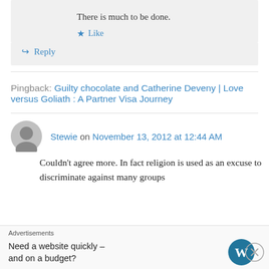There is much to be done.
★ Like
↪ Reply
Pingback: Guilty chocolate and Catherine Deveny | Love versus Goliath : A Partner Visa Journey
Stewie on November 13, 2012 at 12:44 AM
Couldn't agree more. In fact religion is used as an excuse to discriminate against many groups
Advertisements
Need a website quickly – and on a budget?